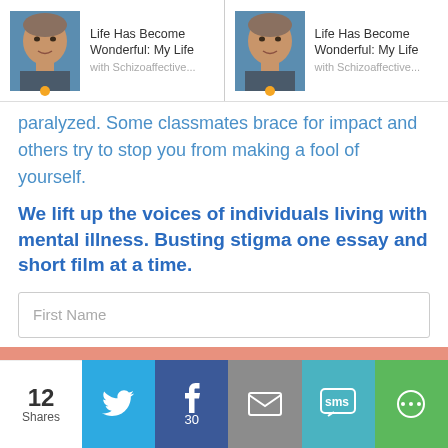[Figure (screenshot): Page header showing two thumbnail cards side by side. Each card has a photo of a man and text 'Life Has Become Wonderful: My Life with Schizoaffective...' with an orange dot below the thumbnail.]
paralyzed. Some classmates brace for impact and others try to stop you from making a fool of yourself.
We lift up the voices of individuals living with mental illness. Busting stigma one essay and short film at a time.
First Name
Email Address
[Figure (screenshot): Share bar at bottom with share count 12, Twitter, Facebook (30), Email, SMS, and More buttons]